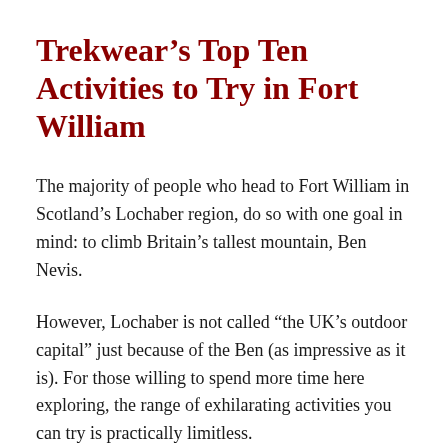Trekwear’s Top Ten Activities to Try in Fort William
The majority of people who head to Fort William in Scotland’s Lochaber region, do so with one goal in mind: to climb Britain’s tallest mountain, Ben Nevis.
However, Lochaber is not called “the UK’s outdoor capital” just because of the Ben (as impressive as it is). For those willing to spend more time here exploring, the range of exhilarating activities you can try is practically limitless.